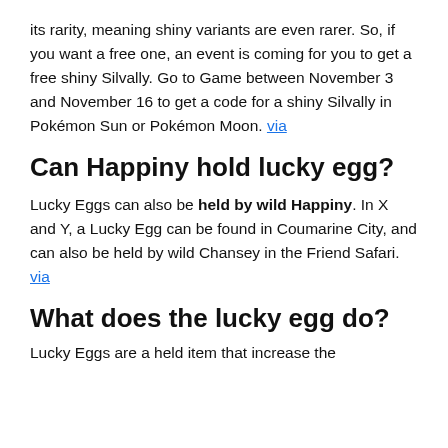its rarity, meaning shiny variants are even rarer. So, if you want a free one, an event is coming for you to get a free shiny Silvally. Go to Game between November 3 and November 16 to get a code for a shiny Silvally in Pokémon Sun or Pokémon Moon. via
Can Happiny hold lucky egg?
Lucky Eggs can also be held by wild Happiny. In X and Y, a Lucky Egg can be found in Coumarine City, and can also be held by wild Chansey in the Friend Safari. via
What does the lucky egg do?
Lucky Eggs are...